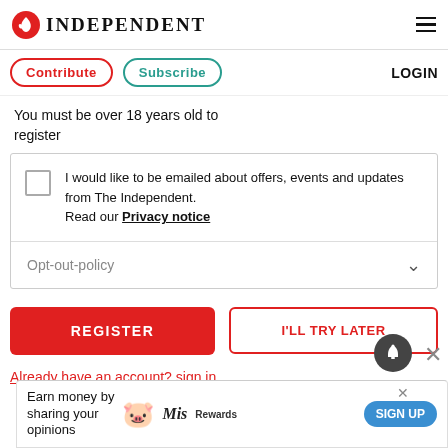INDEPENDENT
Contribute  Subscribe  LOGIN
You must be over 18 years old to register
I would like to be emailed about offers, events and updates from The Independent. Read our Privacy notice
Opt-out-policy
REGISTER
I'LL TRY LATER
Already have an account? sign in
[Figure (screenshot): Advertisement banner: Earn money by sharing your opinions, with a pig illustration, Mis Rewards logo, and SIGN UP button]